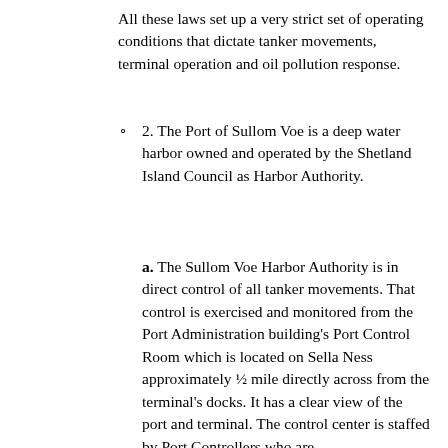All these laws set up a very strict set of operating conditions that dictate tanker movements, terminal operation and oil pollution response.
2. The Port of Sullom Voe is a deep water harbor owned and operated by the Shetland Island Council as Harbor Authority.
a. The Sullom Voe Harbor Authority is in direct control of all tanker movements. That control is exercised and monitored from the Port Administration building's Port Control Room which is located on Sella Ness approximately ½ mile directly across from the terminal's docks. It has a clear view of the port and terminal. The control center is staffed by Port Controllers who are...